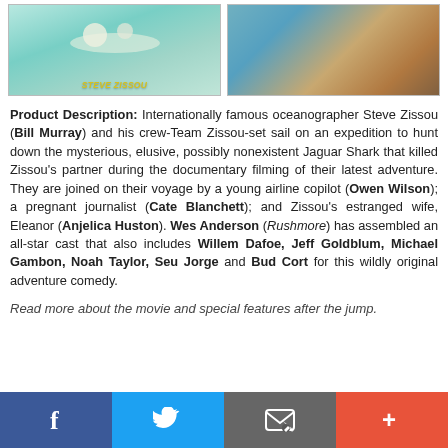[Figure (photo): Left: Movie poster or DVD cover for The Life Aquatic with Steve Zissou, teal/aqua background with animated characters and yellow title text 'Steve Zissou'. Right: Photo of actors in costume, teal and tan colors.]
Product Description: Internationally famous oceanographer Steve Zissou (Bill Murray) and his crew-Team Zissou-set sail on an expedition to hunt down the mysterious, elusive, possibly nonexistent Jaguar Shark that killed Zissou's partner during the documentary filming of their latest adventure. They are joined on their voyage by a young airline copilot (Owen Wilson); a pregnant journalist (Cate Blanchett); and Zissou's estranged wife, Eleanor (Anjelica Huston). Wes Anderson (Rushmore) has assembled an all-star cast that also includes Willem Dafoe, Jeff Goldblum, Michael Gambon, Noah Taylor, Seu Jorge and Bud Cort for this wildly original adventure comedy.
Read more about the movie and special features after the jump.